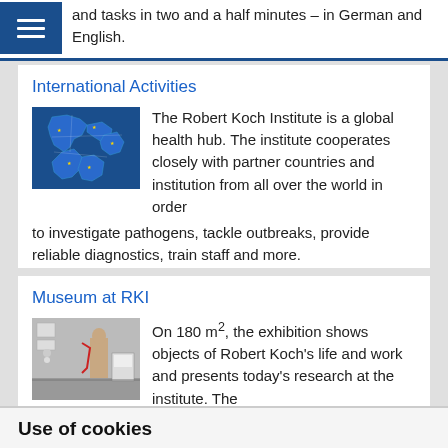and tasks in two and a half minutes – in German and English.
International Activities
[Figure (map): Blue map showing Europe, Africa, and Middle East regions with country borders and yellow star markers]
The Robert Koch Institute is a global health hub. The institute cooperates closely with partner countries and institution from all over the world in order to investigate pathogens, tackle outbreaks, provide reliable diagnostics, train staff and more.
Museum at RKI
[Figure (photo): Interior photo of the Robert Koch Institute museum showing exhibition display with mannequin and display cases]
On 180 m², the exhibition shows objects of Robert Koch's life and work and presents today's research at the institute. The Mausoleum containing Robert Koch's ashes can also be visited. The Museum is open from
Use of cookies